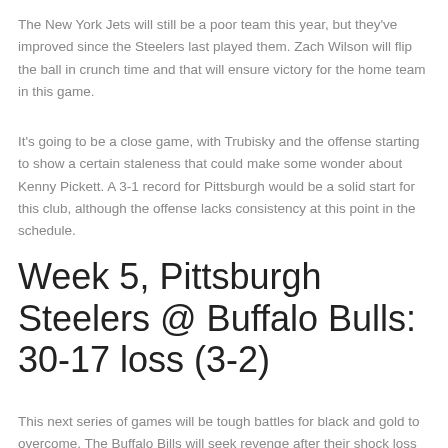The New York Jets will still be a poor team this year, but they've improved since the Steelers last played them. Zach Wilson will flip the ball in crunch time and that will ensure victory for the home team in this game.
It's going to be a close game, with Trubisky and the offense starting to show a certain staleness that could make some wonder about Kenny Pickett. A 3-1 record for Pittsburgh would be a solid start for this club, although the offense lacks consistency at this point in the schedule.
Week 5, Pittsburgh Steelers @ Buffalo Bulls: 30-17 loss (3-2)
This next series of games will be tough battles for black and gold to overcome. The Buffalo Bills will seek revenge after their shock loss to the Steelers in last year's season opener.